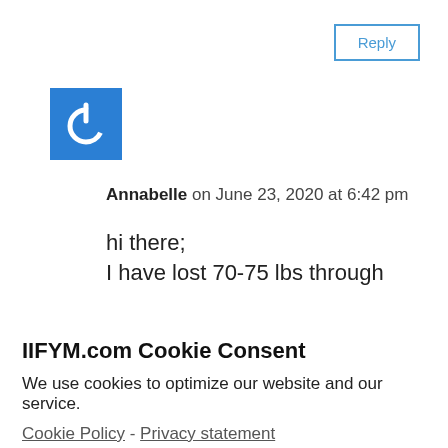Reply
[Figure (logo): Blue square avatar icon with white power symbol (circle with line at top)]
Annabelle on June 23, 2020 at 6:42 pm
hi there;
I have lost 70-75 lbs through
IIFYM.com Cookie Consent
We use cookies to optimize our website and our service.
Cookie Policy - Privacy statement
Accept
lose another 5-10lbs.